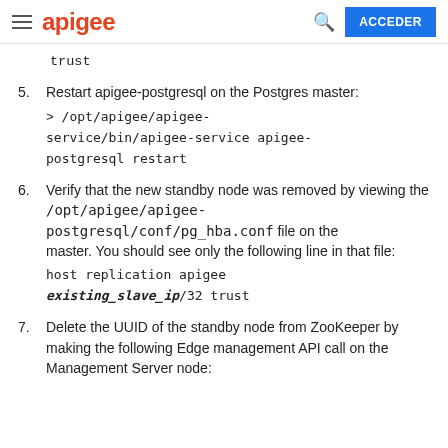apigee | ACCEDER
trust
5. Restart apigee-postgresql on the Postgres master:
> /opt/apigee/apigee-service/bin/apigee-service apigee-postgresql restart
6. Verify that the new standby node was removed by viewing the /opt/apigee/apigee-postgresql/conf/pg_hba.conf file on the master. You should see only the following line in that file:
host replication apigee existing_slave_ip/32 trust
7. Delete the UUID of the standby node from ZooKeeper by making the following Edge management API call on the Management Server node: